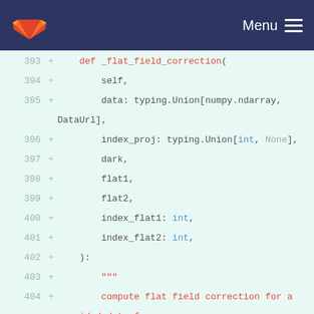GitLab navigation bar with logo and Menu
[Figure (screenshot): Code diff view showing Python method definition _flat_field_correction with parameters and docstring, lines 393-406]
393  +      def _flat_field_correction(
394  +          self,
395  +          data: typing.Union[numpy.ndarray, DataUrl],
396  +          index_proj: typing.Union[int, None],
397  +          dark,
398  +          flat1,
399  +          flat2,
400  +          index_flat1: int,
401  +          index_flat2: int,
402  +      ):
403  +          """
404  +          compute flat field correction for a provided data from is index
405  +          one dark and two flats (require also indexes)
406  +          """